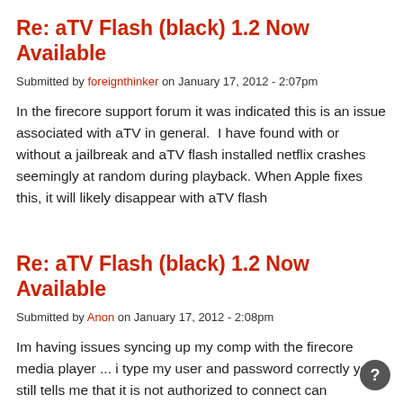Re: aTV Flash (black) 1.2 Now Available
Submitted by foreignthinker on January 17, 2012 - 2:07pm
In the firecore support forum it was indicated this is an issue associated with aTV in general.  I have found with or without a jailbreak and aTV flash installed netflix crashes seemingly at random during playback. When Apple fixes this, it will likely disappear with aTV flash
Re: aTV Flash (black) 1.2 Now Available
Submitted by Anon on January 17, 2012 - 2:08pm
Im having issues syncing up my comp with the firecore media player ... i type my user and password correctly yet it still tells me that it is not authorized to connect can